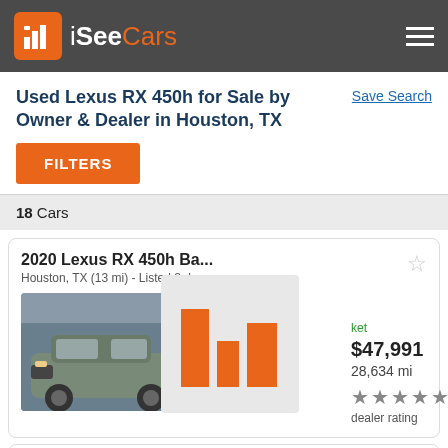iSeeCars
Used Lexus RX 450h for Sale by Owner & Dealer in Houston, TX
Save Search
FILTERS
18 Cars
2020 Lexus RX 450h Ba...
Houston, TX (13 mi) - Listed 8 da...
[Figure (bar-chart): Bar chart popup showing price comparison bars in orange on grey background]
ket
$47,991
28,634 mi
dealer rating
2016 Lexus RX 450h 450h